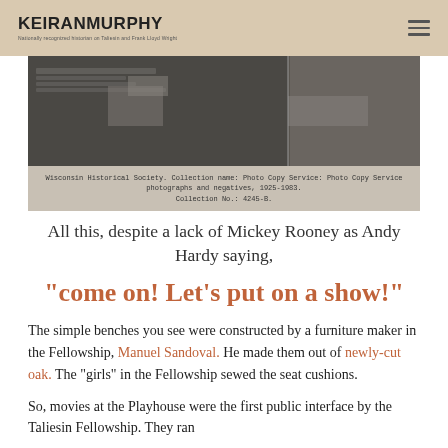KEIRAN MURPHY — Nationally recognized historian on Taliesin and Frank Lloyd Wright
[Figure (photo): Black and white photograph related to Wisconsin Historical Society. Caption below reads: Wisconsin Historical Society. Collection name: Photo Copy Service: Photo Copy Service photographs and negatives, 1925-1983. Collection No.: 4245-B.]
Wisconsin Historical Society. Collection name: Photo Copy Service: Photo Copy Service photographs and negatives, 1925-1983. Collection No.: 4245-B.
All this, despite a lack of Mickey Rooney as Andy Hardy saying,
“come on! Let’s put on a show!”
The simple benches you see were constructed by a furniture maker in the Fellowship, Manuel Sandoval. He made them out of newly-cut oak. The “girls” in the Fellowship sewed the seat cushions.
So, movies at the Playhouse were the first public interface by the Taliesin Fellowship. They ran